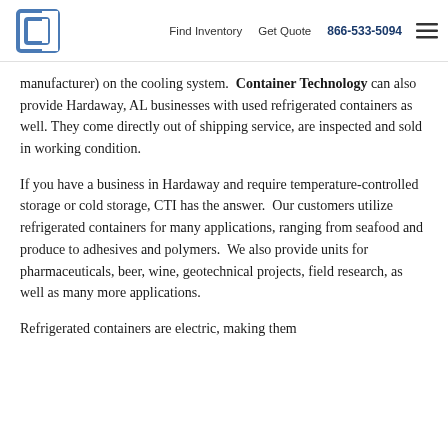Find Inventory  Get Quote  866-533-5094
manufacturer) on the cooling system. Container Technology can also provide Hardaway, AL businesses with used refrigerated containers as well. They come directly out of shipping service, are inspected and sold in working condition.
If you have a business in Hardaway and require temperature-controlled storage or cold storage, CTI has the answer. Our customers utilize refrigerated containers for many applications, ranging from seafood and produce to adhesives and polymers. We also provide units for pharmaceuticals, beer, wine, geotechnical projects, field research, as well as many more applications.
Refrigerated containers are electric, making them